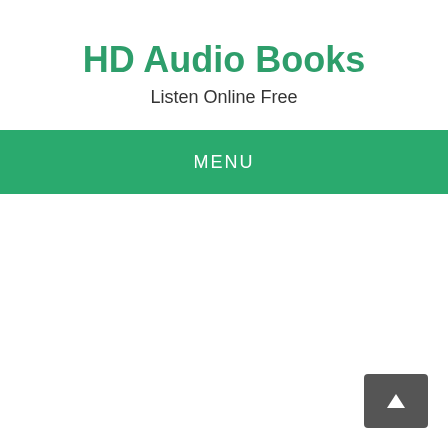HD Audio Books
Listen Online Free
MENU
[Figure (other): Scroll-to-top button with upward arrow icon, dark gray rounded rectangle]